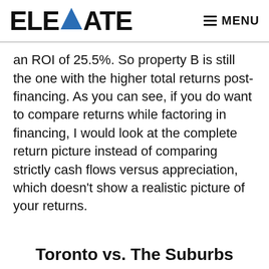ELEVATE  MENU
an ROI of 25.5%. So property B is still the one with the higher total returns post-financing. As you can see, if you do want to compare returns while factoring in financing, I would look at the complete return picture instead of comparing strictly cash flows versus appreciation, which doesn't show a realistic picture of your returns.
Toronto vs. The Suburbs